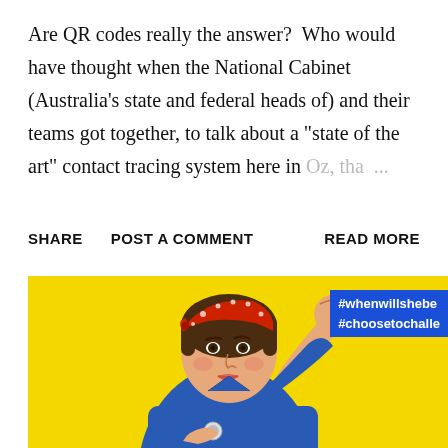Are QR codes really the answer?  Who would have thought when the National Cabinet (Australia's state and federal heads of) and their teams got together, to talk about a "state of the art" contact tracing system here in Oz, tha  ...
SHARE
POST A COMMENT
READ MORE
[Figure (illustration): Rosie the Riveter style illustration: woman in blue shirt with red polka-dot headband flexing her arm on a yellow background, with blue hashtag overlay showing #whenwillshebe and #choosetochalle]